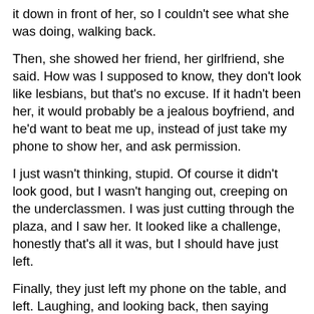it down in front of her, so I couldn't see what she was doing, walking back.
Then, she showed her friend, her girlfriend, she said. How was I supposed to know, they don't look like lesbians, but that's no excuse. If it hadn't been her, it would probably be a jealous boyfriend, and he'd want to beat me up, instead of just take my phone to show her, and ask permission.
I just wasn't thinking, stupid. Of course it didn't look good, but I wasn't hanging out, creeping on the underclassmen. I was just cutting through the plaza, and I saw her. It looked like a challenge, honestly that's all it was, but I should have just left.
Finally, they just left my phone on the table, and left. Laughing, and looking back, then saying something cruel, and laughing again. It was humiliating, but I guess I deserved it. They left the photo on the screen, but now I wasn't sure. Maybe that's a yes, you can try to draw the bleached highlights, catching the sunlight reflected off the window behind her, and the way that the shadow lines are even darker, streaked across her face.